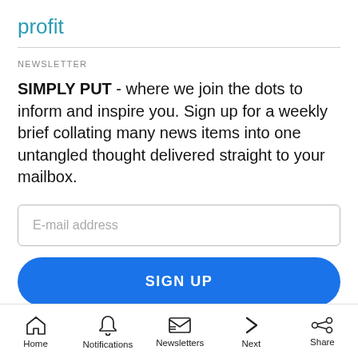profit
NEWSLETTER
SIMPLY PUT - where we join the dots to inform and inspire you. Sign up for a weekly brief collating many news items into one untangled thought delivered straight to your mailbox.
E-mail address
SIGN UP
Home  Notifications  Newsletters  Next  Share